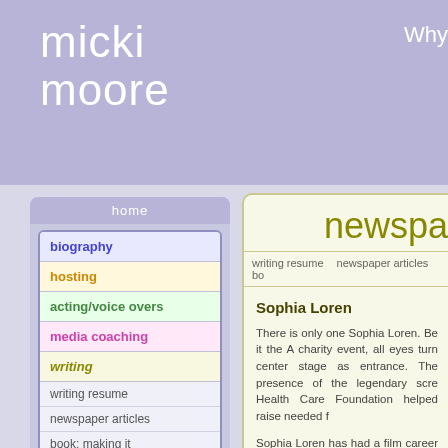micki moore
Why
home
biography
hosting
acting/voice overs
media coaching
writing
writing resume
newspaper articles
book: making it
play: women who talk too much
contact
newspaper articles
writing resume    newspaper articles    bo
Sophia Loren
There is only one Sophia Loren. Be it the A charity event, all eyes turn center stage as entrance. The presence of the legendary scre Health Care Foundation helped raise needed f
Sophia Loren has had a film career that spa winning performance in Two Women, as we Tomorrow and Grumpier Old Men. The operati controversial marriage to Carlo Ponti, the diff imprisonment in Italy for tax evasion, or the th Now at age 65, Sophia Loren reflects on life,
MM: What did you mean when you have sai being born into poverty gave you an advantage SL: I meant that when you are born poor you h doesn't agree very much with you when you